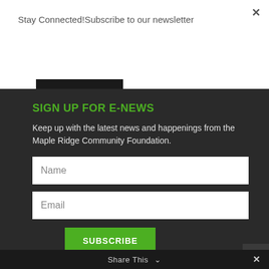Stay Connected!Subscribe to our newsletter
Subscribe
SIGN UP FOR E-NEWS
Keep up with the latest news and happenings from the Maple Ridge Community Foundation.
Name
Email
SUBSCRIBE
Share This
✕